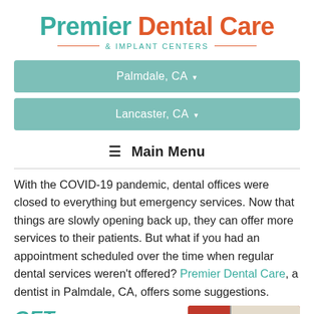[Figure (logo): Premier Dental Care & Implant Centers logo with teal and orange/red colors]
Palmdale, CA ▾
Lancaster, CA ▾
≡ Main Menu
With the COVID-19 pandemic, dental offices were closed to everything but emergency services. Now that things are slowly opening back up, they can offer more services to their patients. But what if you had an appointment scheduled over the time when regular dental services weren't offered? Premier Dental Care, a dentist in Palmdale, CA, offers some suggestions.
GET